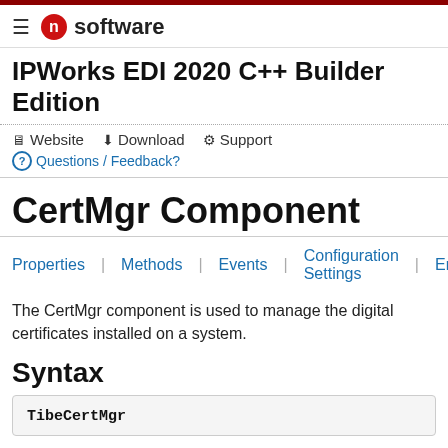IPWorks EDI 2020 C++ Builder Edition
Website  Download  Support
Questions / Feedback?
CertMgr Component
Properties   Methods   Events   Configuration Settings   Errors
The CertMgr component is used to manage the digital certificates installed on a system.
Syntax
TibeCertMgr
Remarks